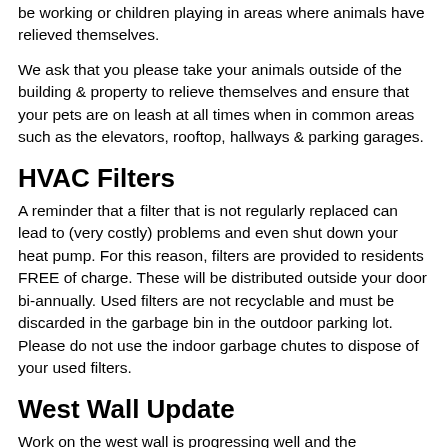be working or children playing in areas where animals have relieved themselves.
We ask that you please take your animals outside of the building & property to relieve themselves and ensure that your pets are on leash at all times when in common areas such as the elevators, rooftop, hallways & parking garages.
HVAC Filters
A reminder that a filter that is not regularly replaced can lead to (very costly) problems and even shut down your heat pump. For this reason, filters are provided to residents FREE of charge. These will be distributed outside your door bi-annually. Used filters are not recyclable and must be discarded in the garbage bin in the outdoor parking lot. Please do not use the indoor garbage chutes to dispose of your used filters.
West Wall Update
Work on the west wall is progressing well and the anticipated